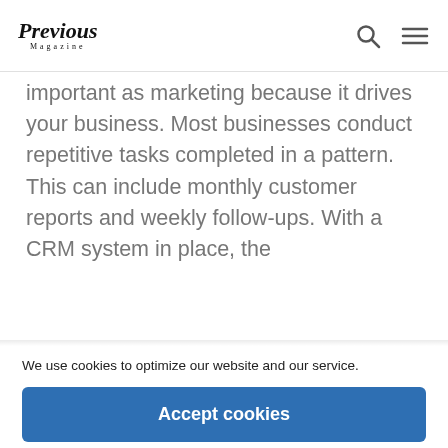Previous Magazine
important as marketing because it drives your business. Most businesses conduct repetitive tasks completed in a pattern. This can include monthly customer reports and weekly follow-ups. With a CRM system in place, the
We use cookies to optimize our website and our service.
Accept cookies
Functional only
View preferences
Cookie Policy   Privacy Policy